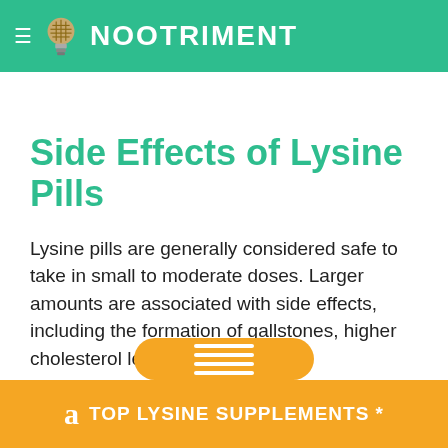NooTriment
Side Effects of Lysine Pills
Lysine pills are generally considered safe to take in small to moderate doses. Larger amounts are associated with side effects, including the formation of gallstones, higher cholesterol levels
TOP LYSINE SUPPLEMENTS *